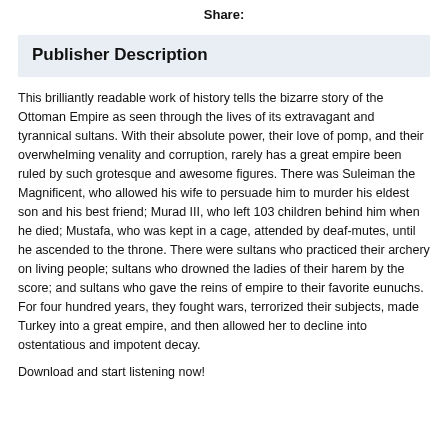Share:
Publisher Description
This brilliantly readable work of history tells the bizarre story of the Ottoman Empire as seen through the lives of its extravagant and tyrannical sultans. With their absolute power, their love of pomp, and their overwhelming venality and corruption, rarely has a great empire been ruled by such grotesque and awesome figures. There was Suleiman the Magnificent, who allowed his wife to persuade him to murder his eldest son and his best friend; Murad III, who left 103 children behind him when he died; Mustafa, who was kept in a cage, attended by deaf-mutes, until he ascended to the throne. There were sultans who practiced their archery on living people; sultans who drowned the ladies of their harem by the score; and sultans who gave the reins of empire to their favorite eunuchs. For four hundred years, they fought wars, terrorized their subjects, made Turkey into a great empire, and then allowed her to decline into ostentatious and impotent decay.
Download and start listening now!